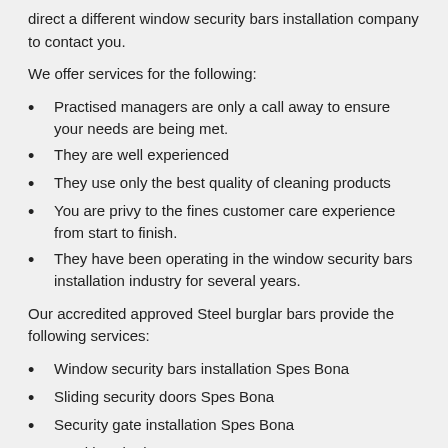direct a different window security bars installation company to contact you.
We offer services for the following:
Practised managers are only a call away to ensure your needs are being met.
They are well experienced
They use only the best quality of cleaning products
You are privy to the fines customer care experience from start to finish.
They have been operating in the window security bars installation industry for several years.
Our accredited approved Steel burglar bars provide the following services:
Window security bars installation Spes Bona
Sliding security doors Spes Bona
Security gate installation Spes Bona
Steel burglar bars Spes Bona
Burglar proofing Spes Bona
Burglar bars Spes Bona
Security doors Spes Bona
Burglar bars for aluminium windows Spes Bona
Retractable security gates Spes Bona
Security shutters Spes Bona
Transparent burglar bars Spes Bona